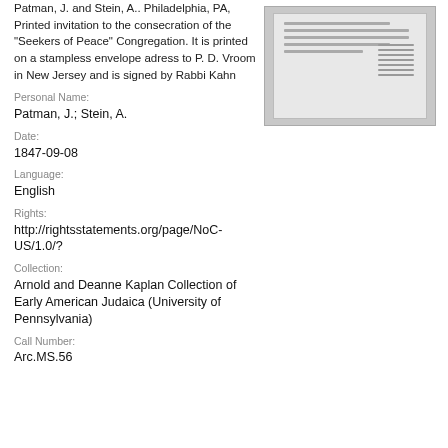Patman, J. and Stein, A.. Philadelphia, PA, Printed invitation to the consecration of the "Seekers of Peace" Congregation. It is printed on a stampless envelope adress to P. D. Vroom in New Jersey and is signed by Rabbi Kahn
[Figure (photo): Thumbnail image of a historical document/letter with handwritten and printed text]
Personal Name:
Patman, J.; Stein, A.
Date:
1847-09-08
Language:
English
Rights:
http://rightsstatements.org/page/NoC-US/1.0/?
Collection:
Arnold and Deanne Kaplan Collection of Early American Judaica (University of Pennsylvania)
Call Number:
Arc.MS.56